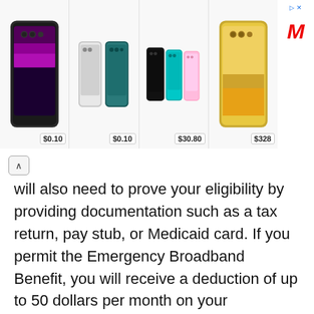[Figure (screenshot): Advertisement banner showing four smartphone product images with prices: $0.10, $0.10, $30.80, $328, with a red M logo in the top-right corner]
will also need to prove your eligibility by providing documentation such as a tax return, pay stub, or Medicaid card. If you permit the Emergency Broadband Benefit, you will receive a deduction of up to 50 dollars per month on your broadband line.
You can further get a one-time deal of up to 100 dollars cut off for a laptop, desktop computer, or tablet purchased through your internet service provider. The Discount is